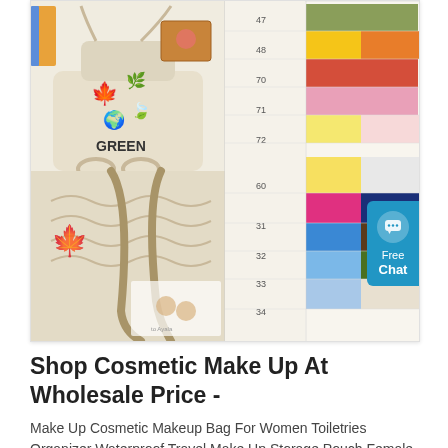[Figure (photo): Product listing image showing two views of a cream/beige drawstring canvas bag with green leaf/globe prints and the word GREEN, plus a fabric color swatch chart showing numbered color samples (47, 48, 70, 71, 72, 60, 31, 32, 33, 34) in various colors including yellow, orange, pink, red, navy, blue, green, tan, etc.]
Shop Cosmetic Make Up At Wholesale Price -
Make Up Cosmetic Makeup Bag For Women Toiletries Organizer Waterproof Travel Make Up Storage Pouch Female Large Capacity